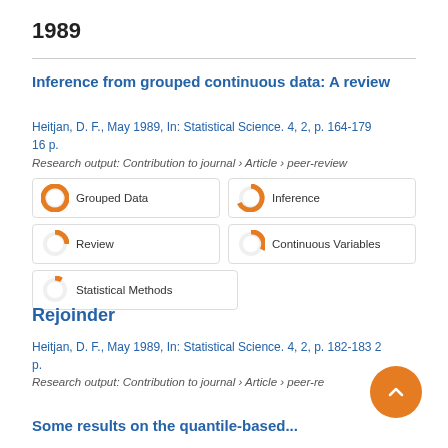1989
Inference from grouped continuous data: A review
Heitjan, D. F., May 1989, In: Statistical Science. 4, 2, p. 164-179 16 p.
Research output: Contribution to journal › Article › peer-review
[Figure (infographic): Five keyword badges with donut-style percentage icons: Grouped Data (100%), Inference (67%), Review (50%), Continuous Variables (33%), Statistical Methods (17%)]
Rejoinder
Heitjan, D. F., May 1989, In: Statistical Science. 4, 2, p. 182-183 2 p.
Research output: Contribution to journal › Article › peer-re...
Some results on the quantile-based...